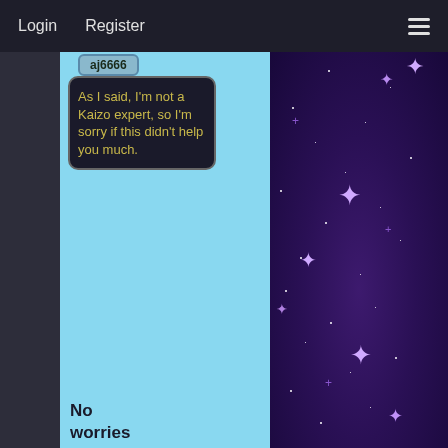Login   Register
aj6666
As I said, I'm not a Kaizo expert, so I'm sorry if this didn't help you much.
No worries
[Figure (illustration): Starfield background with purple/dark night sky, scattered white and purple star points and cross-shaped bright stars.]